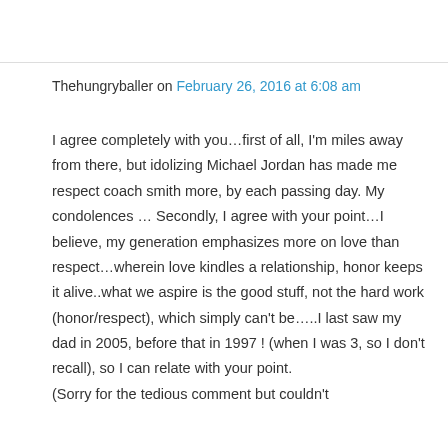Thehungryballer on February 26, 2016 at 6:08 am
I agree completely with you…first of all, I'm miles away from there, but idolizing Michael Jordan has made me respect coach smith more, by each passing day. My condolences … Secondly, I agree with your point…I believe, my generation emphasizes more on love than respect…wherein love kindles a relationship, honor keeps it alive..what we aspire is the good stuff, not the hard work (honor/respect), which simply can't be…..I last saw my dad in 2005, before that in 1997 ! (when I was 3, so I don't recall), so I can relate with your point. (Sorry for the tedious comment but couldn't